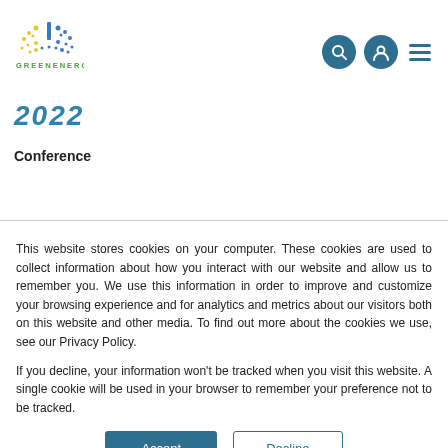[Figure (logo): GreenEnergy logo with dots forming a circular pattern and a vertical bar chart icon above, with 'GREENENERGY' text below in green]
2022
Conference
This website stores cookies on your computer. These cookies are used to collect information about how you interact with our website and allow us to remember you. We use this information in order to improve and customize your browsing experience and for analytics and metrics about our visitors both on this website and other media. To find out more about the cookies we use, see our Privacy Policy.
If you decline, your information won't be tracked when you visit this website. A single cookie will be used in your browser to remember your preference not to be tracked.